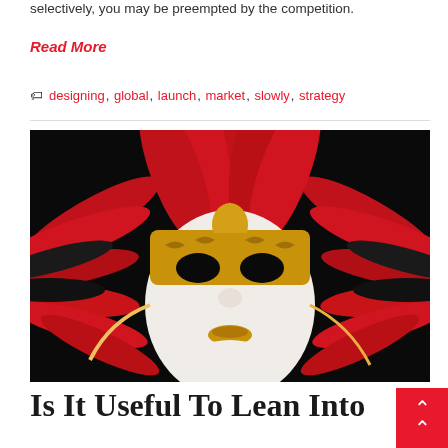selectively, you may be preempted by the competition.
Read More
designing, global, launch, market, slowly, strategy
[Figure (photo): A person wearing an ornate gold Venetian carnival mask surrounded by large red and black feathers against a dark background.]
Is It Useful To Lean Into